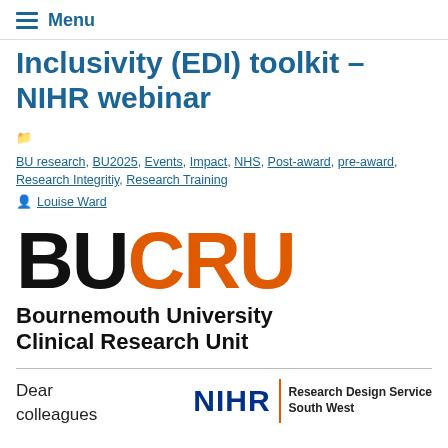Menu
Inclusivity (EDI) toolkit – NIHR webinar
BU research, BU2025, Events, Impact, NHS, Post-award, pre-award, Research Integritiy, Research Training
Louise Ward
[Figure (logo): BUCRU logo: BU in black, CRU in orange, large bold text. Subtitle: Bournemouth University Clinical Research Unit]
Dear colleagues
[Figure (logo): NIHR Research Design Service South West logo]